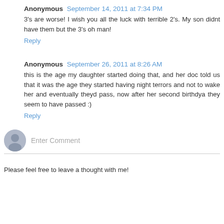Anonymous September 14, 2011 at 7:34 PM
3's are worse! I wish you all the luck with terrible 2's. My son didnt have them but the 3's oh man!
Reply
Anonymous September 26, 2011 at 8:26 AM
this is the age my daughter started doing that, and her doc told us that it was the age they started having night terrors and not to wake her and eventually theyd pass, now after her second birthdya they seem to have passed :)
Reply
[Figure (illustration): Gray avatar/person icon for comment input area]
Enter Comment
Please feel free to leave a thought with me!